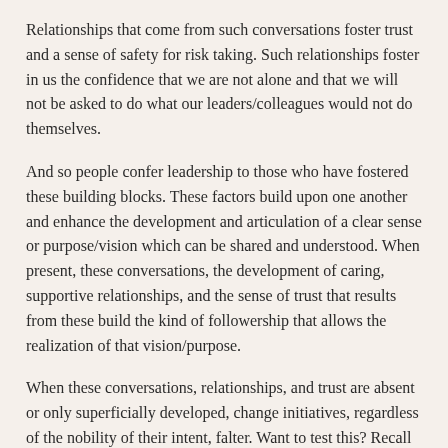Relationships that come from such conversations foster trust and a sense of safety for risk taking. Such relationships foster in us the confidence that we are not alone and that we will not be asked to do what our leaders/colleagues would not do themselves.
And so people confer leadership to those who have fostered these building blocks. These factors build upon one another and enhance the development and articulation of a clear sense or purpose/vision which can be shared and understood. When present, these conversations, the development of caring, supportive relationships, and the sense of trust that results from these build the kind of followership that allows the realization of that vision/purpose.
When these conversations, relationships, and trust are absent or only superficially developed, change initiatives, regardless of the nobility of their intent, falter. Want to test this? Recall an initiative that was considered high profile only a few years ago that has been replaced by another such “miracle cure”. I’ve worked in districts where we could have filled wall with post-it notes, each representing a program or new initiative that is no longer in use.
Question: Why did these fail? Why did little or nothing change (other than